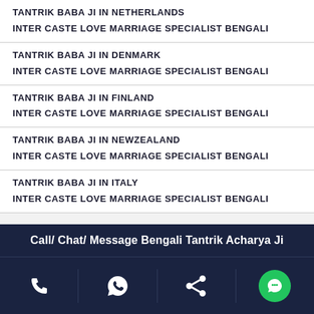TANTRIK BABA JI IN NETHERLANDS
INTER CASTE LOVE MARRIAGE SPECIALIST BENGALI
TANTRIK BABA JI IN DENMARK
INTER CASTE LOVE MARRIAGE SPECIALIST BENGALI
TANTRIK BABA JI IN FINLAND
INTER CASTE LOVE MARRIAGE SPECIALIST BENGALI
TANTRIK BABA JI IN NEWZEALAND
INTER CASTE LOVE MARRIAGE SPECIALIST BENGALI
TANTRIK BABA JI IN ITALY
INTER CASTE LOVE MARRIAGE SPECIALIST BENGALI
Call/ Chat/ Message Bengali Tantrik Acharya Ji